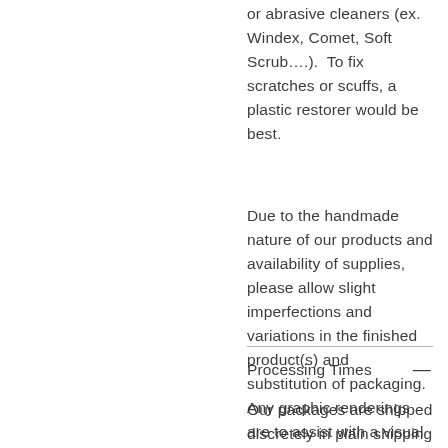or abrasive cleaners (ex. Windex, Comet, Soft Scrub….).  To fix scratches or scuffs, a plastic restorer would be best.
Due to the handmade nature of our products and availability of supplies, please allow slight imperfections and variations in the finished product(s) and substitution of packaging. Any graphic renderings are to assist with a visual only.
Processing Times
Our packages are shipped discretely in plain shipping boxes.